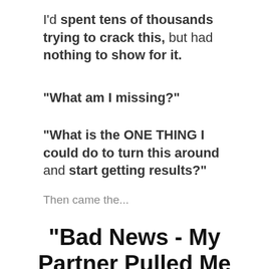I'd spent tens of thousands trying to crack this, but had nothing to show for it.
"What am I missing?"
"What is the ONE THING I could do to turn this around and start getting results?"
Then came the...
"Bad News - My Partner Pulled Me